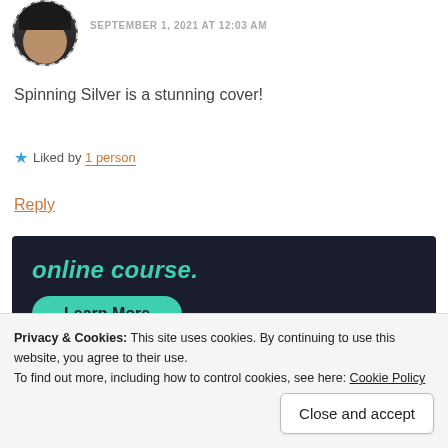[Figure (photo): Circular avatar photo of a person with dark hair, outlined with a dashed border]
SEPTEMBER 1, 2021 AT 12:03 AM
Spinning Silver is a stunning cover!
★ Liked by 1 person
Reply
[Figure (screenshot): Dark navy advertisement banner with teal italic text 'online course.' and a teal 'Learn More' pill button]
Privacy & Cookies: This site uses cookies. By continuing to use this website, you agree to their use.
To find out more, including how to control cookies, see here: Cookie Policy
Close and accept